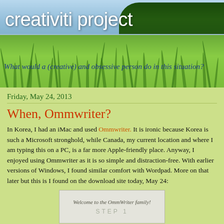[Figure (photo): Header photo showing a nature scene with blue sky, trees on right, beach/water in background, and green grass reeds in foreground]
creativiti project
What would a (creative) and obsessive person do in this situation?
Friday, May 24, 2013
When, Ommwriter?
In Korea, I had an iMac and used Ommwriter.  It is ironic because Korea is such a Microsoft stronghold, while Canada, my current location and where I am typing this on a PC, is a far more Apple-friendly place.  Anyway, I enjoyed using Ommwriter as it is so simple and distraction-free.  With earlier versions of Windows, I found similar comfort with Wordpad.  More on that later but this is I found on the download site today, May 24:
[Figure (screenshot): Screenshot box showing 'Welcome to the OmmWriter family!' text and 'STEP 1' below it]